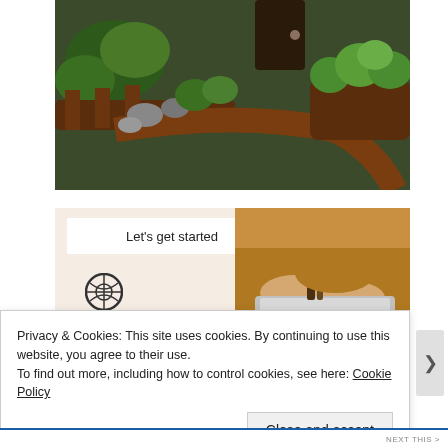[Figure (photo): Garden photo showing wooden planters with green plants and succulents along a curved wooden walkway with rocks]
[Figure (photo): Promotional image with 'Let's get started' text on white box over beige background, with a person's hands typing on a laptop wearing an orange sweater, and a WordPress logo at bottom left]
Privacy & Cookies: This site uses cookies. By continuing to use this website, you agree to their use.
To find out more, including how to control cookies, see here: Cookie Policy
Close and accept